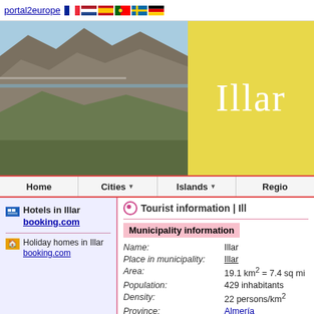portal2europe [flags: France, Netherlands, Spain, Portugal, Sweden, Germany]
[Figure (photo): Coastal landscape photo showing rocky cliffs, blue sea, sandy beach, and green vegetation]
Illar
Home | Cities ▼ | Islands ▼ | Regio
Hotels in Illar booking.com
Holiday homes in Illar booking.com
Tourist information | Ill
| Field | Value |
| --- | --- |
| Name: | Illar |
| Place in municipality: | Illar |
| Area: | 19.1 km² = 7.4 sq mi |
| Population: | 429 inhabitants |
| Density: | 22 persons/km² |
| Province: | Almería |
| Region: | Andalusia |